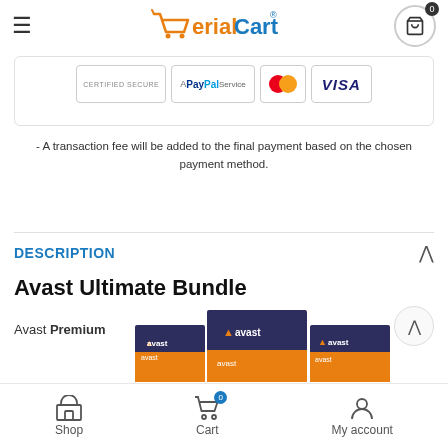SerialCart - navigation header with logo and cart icon
[Figure (screenshot): Payment method badges: Certified Secure, A PayPal Service, Mastercard, VISA]
- A transaction fee will be added to the final payment based on the chosen payment method.
DESCRIPTION
Avast Ultimate Bundle
Avast Premium
[Figure (photo): Avast product box images showing Avast branded packaging in dark blue and orange]
Shop  Cart  My account - bottom navigation bar